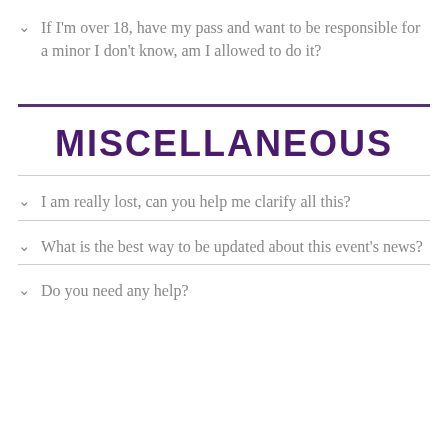If I'm over 18, have my pass and want to be responsible for a minor I don't know, am I allowed to do it?
MISCELLANEOUS
I am really lost, can you help me clarify all this?
What is the best way to be updated about this event's news?
Do you need any help?